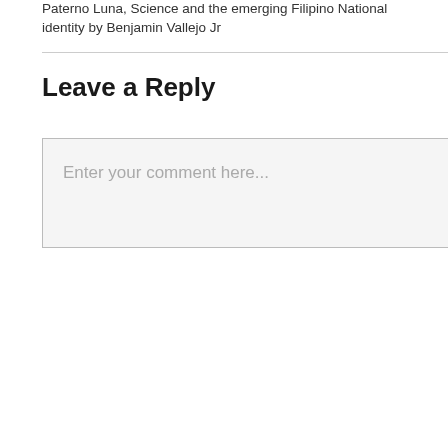Paterno Luna, Science and the emerging Filipino National identity by Benjamin Vallejo Jr
Leave a Reply
Enter your comment here...